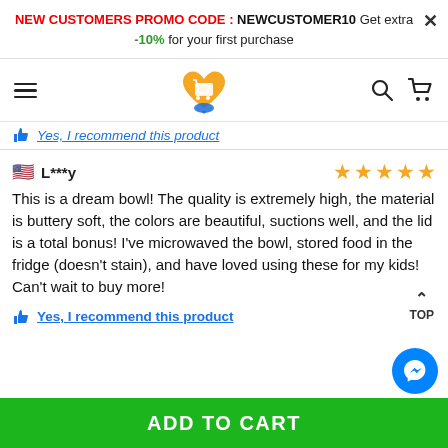NEW CUSTOMERS PROMO CODE : NEWCUSTOMER10 Get extra -10% for your first purchase
[Figure (logo): E-commerce site navigation bar with hamburger menu, orange heart/cart logo, search and cart icons]
Yes, I recommend this product
L***y — 5 stars — This is a dream bowl! The quality is extremely high, the material is buttery soft, the colors are beautiful, suctions well, and the lid is a total bonus! I've microwaved the bowl, stored food in the fridge (doesn't stain), and have loved using these for my kids! Can't wait to buy more!
Yes, I recommend this product
ADD TO CART